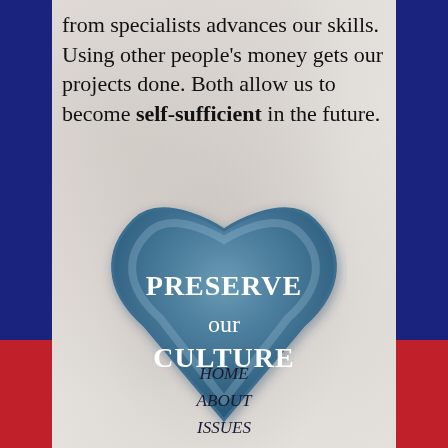from specialists advances our skills. Using other people's money gets our projects done. Both allow us to become self-sufficient in the future.
[Figure (illustration): A large blue-grey heart shape with gradient fill, containing white bold text 'PRESERVE our CULTURE' centered inside it, set against a marble-textured background.]
HOME
ABOUT
ISSUES
DONATE